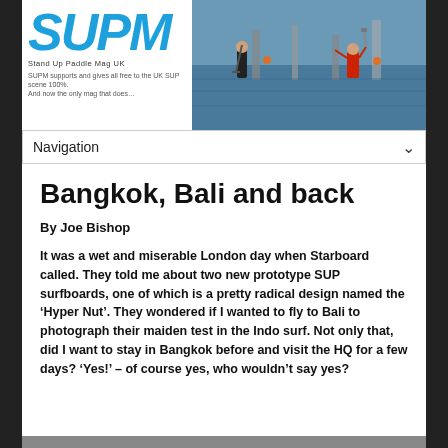[Figure (logo): SUPM Stand Up Paddle Mag UK logo in blue italic bold text with tagline below]
[Figure (photo): Header photo showing people paddleboarding in a harbour with boats and buoys]
[Figure (screenshot): Navigation dropdown bar with chevron]
Bangkok, Bali and back
By Joe Bishop
It was a wet and miserable London day when Starboard called. They told me about two new prototype SUP surfboards, one of which is a pretty radical design named the ‘Hyper Nut’. They wondered if I wanted to fly to Bali to photograph their maiden test in the Indo surf. Not only that, did I want to stay in Bangkok before and visit the HQ for a few days? ‘Yes!’ – of course yes, who wouldn’t say yes?